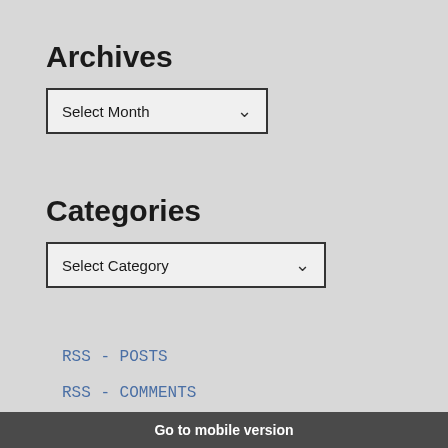Archives
Select Month
Categories
Select Category
RSS - POSTS
RSS - COMMENTS
Go to mobile version